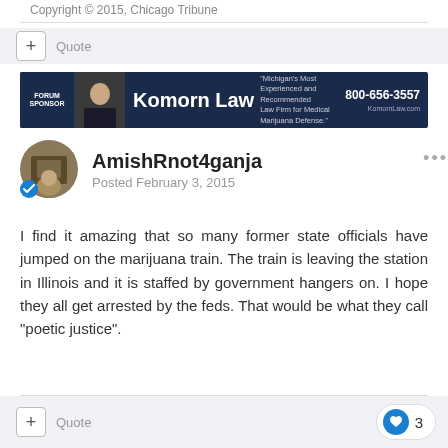Copyright © 2015, Chicago Tribune
Quote
[Figure (other): Komorn Law advertisement banner: Forum Sponsor, photo of man in suit, 'Komorn Law', 'Michigan's Most Experienced and Recommended Law Firm for Medical Marijuana Defense.', 800-656-3557, KomornLaw.com]
AmishRnot4ganja
Posted February 3, 2015
I find it amazing that so many former state officials have jumped on the marijuana train. The train is leaving the station in Illinois and it is staffed by government hangers on. I hope they all get arrested by the feds. That would be what they call "poetic justice".
Quote  3